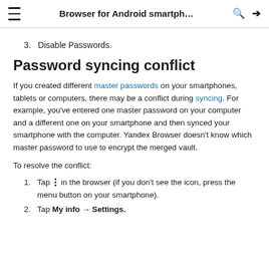Browser for Android smartph... 🔍 →
3. Disable Passwords.
Password syncing conflict
If you created different master passwords on your smartphones, tablets or computers, there may be a conflict during syncing. For example, you've entered one master password on your computer and a different one on your smartphone and then synced your smartphone with the computer. Yandex Browser doesn't know which master password to use to encrypt the merged vault.
To resolve the conflict:
1. Tap [menu icon] in the browser (if you don't see the icon, press the menu button on your smartphone).
2. Tap My info → Settings.